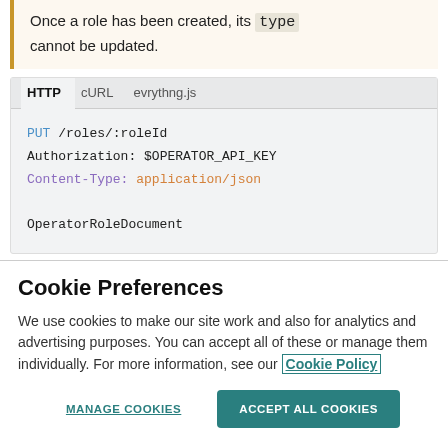Once a role has been created, its type cannot be updated.
[Figure (screenshot): Code panel with HTTP/cURL/evrythng.js tabs showing PUT /roles/:roleId request with Authorization and Content-Type headers and OperatorRoleDocument body]
Cookie Preferences
We use cookies to make our site work and also for analytics and advertising purposes. You can accept all of these or manage them individually. For more information, see our Cookie Policy
MANAGE COOKIES   ACCEPT ALL COOKIES